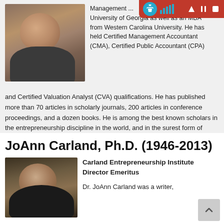[Figure (photo): Headshot photo of older man with gray hair, smiling]
Management ... University of Georgia as well as an MBA from Western Carolina University. He has held Certified Management Accountant (CMA), Certified Public Accountant (CPA) and Certified Valuation Analyst (CVA) qualifications. He has published more than 70 articles in scholarly journals, 200 articles in conference proceedings, and a dozen books. He is among the best known scholars in the entrepreneurship discipline in the world, and in the surest form of scholarly recognition, a current Google Scholar search will reveal more than 3,5...
Learn More
JoAnn Carland, Ph.D. (1946-2013)
[Figure (photo): Headshot photo of woman with dark short hair]
Carland Entrepreneurship Institute Director Emeritus
Dr. JoAnn Carland was a writer,